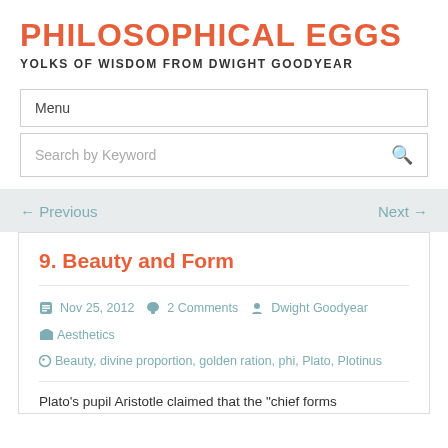PHILOSOPHICAL EGGS
YOLKS OF WISDOM FROM DWIGHT GOODYEAR
Menu
Search by Keyword
← Previous
Next →
9. Beauty and Form
Nov 25, 2012  2 Comments  Dwight Goodyear  Aesthetics  Beauty, divine proportion, golden ration, phi, Plato, Plotinus
Plato's pupil Aristotle claimed that the "chief forms